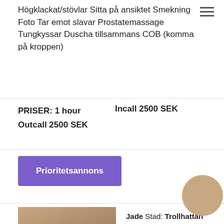Högklackat/stövlar Sitta på ansiktet Smekning Foto Tar emot slavar Prostatemassage Tungkyssar Duscha tillsammans COB (komma på kroppen)
PRISER: 1 hour   Incall 2500 SEK
Outcall 2500 SEK
Prioritetsannons
[Figure (photo): Profile photo of a dark-haired woman in a swimsuit posing]
Jade Stad: Trollhattan
Inlagd: 21:36 21.03.2021
Profil: 46540...
Verification...
Incall/Outc...
Outcall
Info
[Figure (photo): Circular cropped photo overlay]